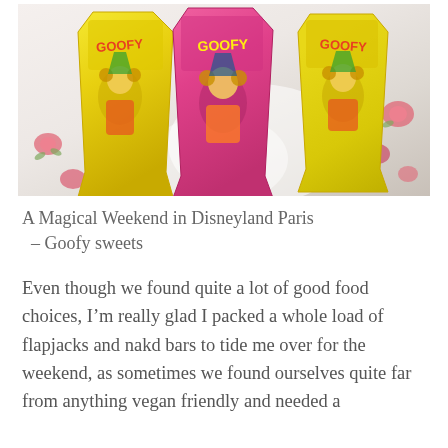[Figure (photo): Three yellow Goofy brand candy/sweets bags featuring Disney's Goofy character, placed on a white floral fabric with pink roses.]
A Magical Weekend in Disneyland Paris – Goofy sweets
Even though we found quite a lot of good food choices, I'm really glad I packed a whole load of flapjacks and nakd bars to tide me over for the weekend, as sometimes we found ourselves quite far from anything vegan friendly and needed a